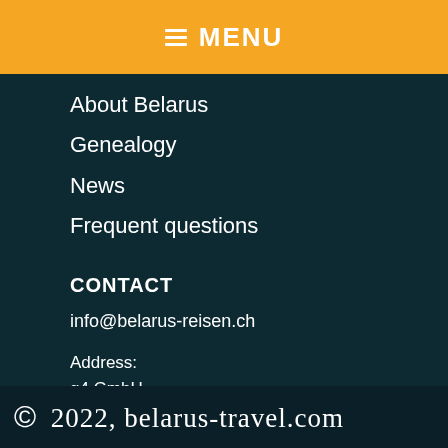MENU
About Belarus
Genealogy
News
Frequent questions
CONTACT
info@belarus-reisen.ch
Address:
g4 GmbH
Gewerbestraße 5
6330 Cham
Switzerland
© 2022, belarus-travel.com